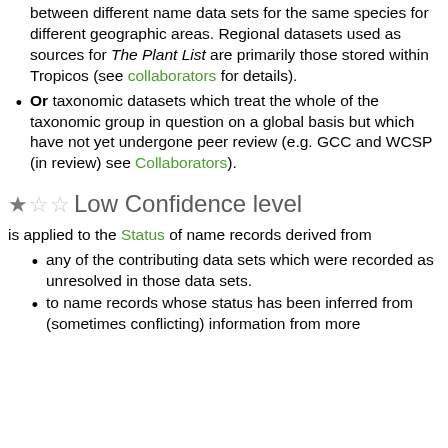challenges inherent in resolving taxonomic differences between different name data sets for the same species for different geographic areas. Regional datasets used as sources for The Plant List are primarily those stored within Tropicos (see collaborators for details).
Or taxonomic datasets which treat the whole of the taxonomic group in question on a global basis but which have not yet undergone peer review (e.g. GCC and WCSP (in review) see Collaborators).
Low Confidence level
is applied to the Status of name records derived from
any of the contributing data sets which were recorded as unresolved in those data sets.
to name records whose status has been inferred from (sometimes conflicting) information from more